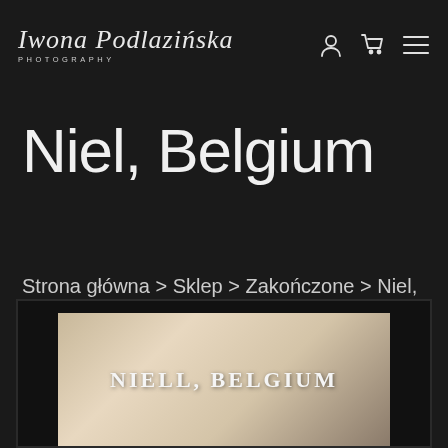Iwona Podlazińska Photography — navigation header with logo, user icon, cart icon, menu icon
Niel, Belgium
Strona główna > Sklep > Zakończone > Niel, Belgium
[Figure (photo): Preview image of a photography print showing 'Niell, Belgium' text overlaid on a warm-toned landscape background, displayed in a dark frame]